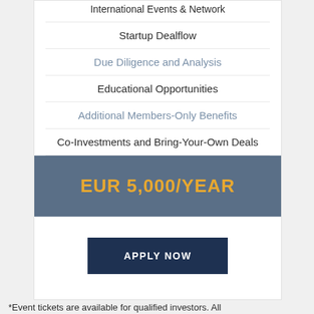International Events & Network
Startup Dealflow
Due Diligence and Analysis
Educational Opportunities
Additional Members-Only Benefits
Co-Investments and Bring-Your-Own Deals
EUR 5,000/YEAR
APPLY NOW
*Event tickets are available for qualified investors. All